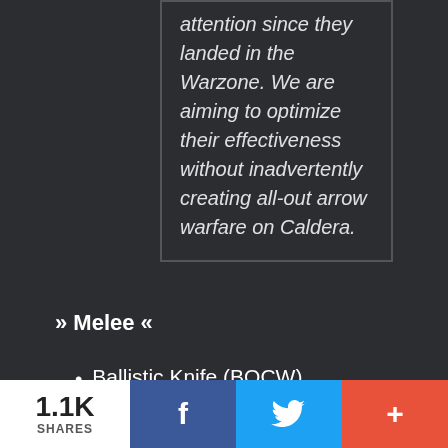attention since they landed in the Warzone. We are aiming to optimize their effectiveness without inadvertently creating all-out arrow warfare on Caldera.
» Melee «
Ballistic Knife (BOCW)
Upper Torso Damage increased to 248, up from 246
Lower Torso Damage increased to
1.1K SHARES  f  🐦  +